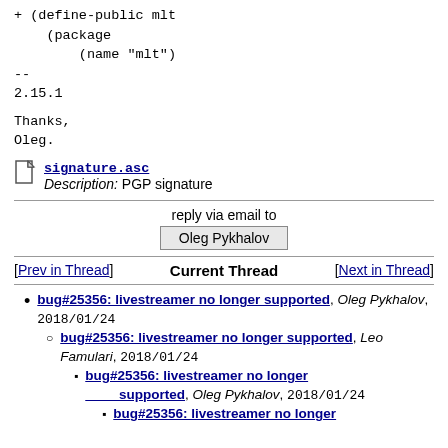+ (define-public mlt
    (package
        (name "mlt")
--
2.15.1
Thanks,
Oleg.
[Figure (other): File attachment icon for signature.asc]
signature.asc
Description: PGP signature
reply via email to
Oleg Pykhalov
[Prev in Thread]    Current Thread    [Next in Thread]
bug#25356: livestreamer no longer supported, Oleg Pykhalov, 2018/01/24
bug#25356: livestreamer no longer supported, Leo Famulari, 2018/01/24
bug#25356: livestreamer no longer supported, Oleg Pykhalov, 2018/01/24
bug#25356: livestreamer no longer supported, Leo Famulari